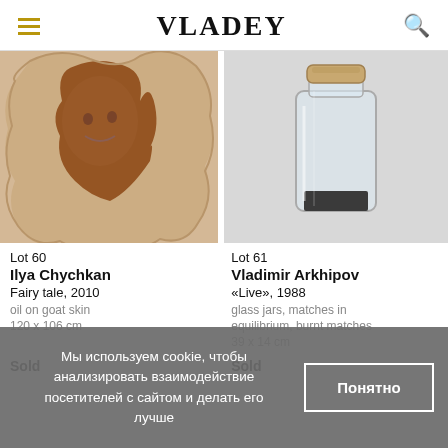VLADEY
[Figure (photo): Painting on goat skin showing a woman's face with flowing hair on an irregular shaped canvas, oil painting]
[Figure (photo): Glass jar with cork stopper containing dark granular material (matches/burnt matches) on a light background]
Lot 60
Ilya Chychkan
Fairy tale, 2010
oil on goat skin
120 x 106 cm
Lot 61
Vladimir Arkhipov
«Live», 1988
glass jars, matches in equilibrium, burnt matches
39 x 14 cm
Sold
Sold
Мы используем cookie, чтобы анализировать взаимодействие посетителей с сайтом и делать его лучше
Понятно